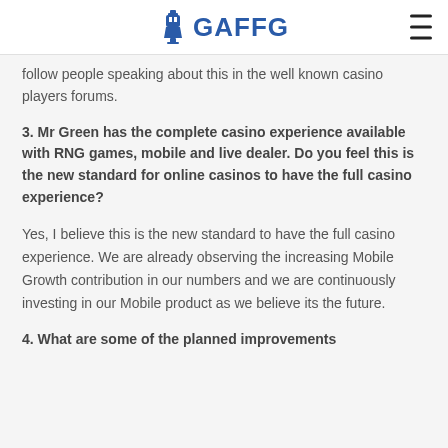GAFFG
follow people speaking about this in the well known casino players forums.
3. Mr Green has the complete casino experience available with RNG games, mobile and live dealer. Do you feel this is the new standard for online casinos to have the full casino experience?
Yes, I believe this is the new standard to have the full casino experience. We are already observing the increasing Mobile Growth contribution in our numbers and we are continuously investing in our Mobile product as we believe its the future.
4. What are some of the planned improvements